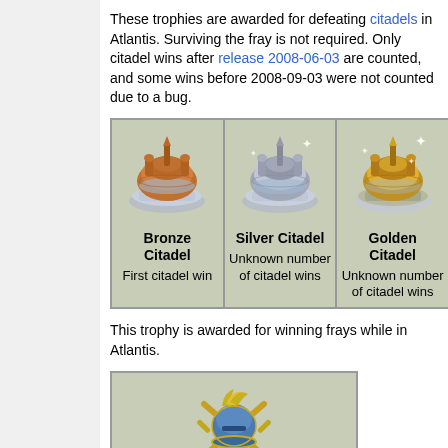These trophies are awarded for defeating citadels in Atlantis. Surviving the fray is not required. Only citadel wins after release 2008-06-03 are counted, and some wins before 2008-09-03 were not counted due to a bug.
| Bronze Citadel | Silver Citadel | Golden Citadel |
| --- | --- | --- |
| First citadel win | Unknown number of citadel wins | Unknown number of citadel wins |
This trophy is awarded for winning frays while in Atlantis.
| Bellator's Bane |
| --- |
| 5 winning swordfights. |